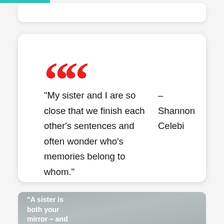“My sister and I are so close that we finish each other’s sentences and often wonder who’s memories belong to whom.” – Shannon Celebi
[Figure (photo): A photo of people (women) partially visible, overlaid with white bold text reading: “A sister is both your mirror – and your opposite.”]